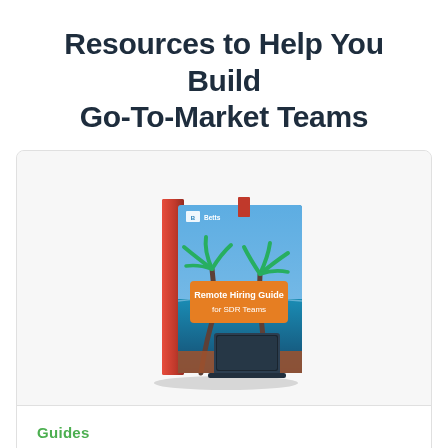Resources to Help You Build Go-To-Market Teams
[Figure (illustration): A 3D book cover showing 'Remote Hiring Guide for SDR Teams' by Betts, with a tropical beach background and a laptop in the foreground]
Guides
Remote Hiring Guide for SDR